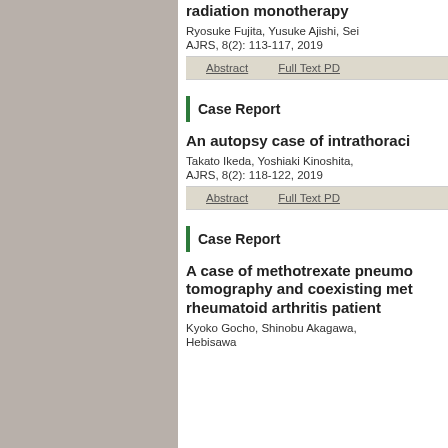radiation monotherapy
Ryosuke Fujita, Yusuke Ajishi, Sei...
AJRS, 8(2): 113-117, 2019
Case Report
An autopsy case of intrathoraci...
Takato Ikeda, Yoshiaki Kinoshita, ...
AJRS, 8(2): 118-122, 2019
Case Report
A case of methotrexate pneumo... tomography and coexisting met... rheumatoid arthritis patient
Kyoko Gocho, Shinobu Akagawa, Hebisawa